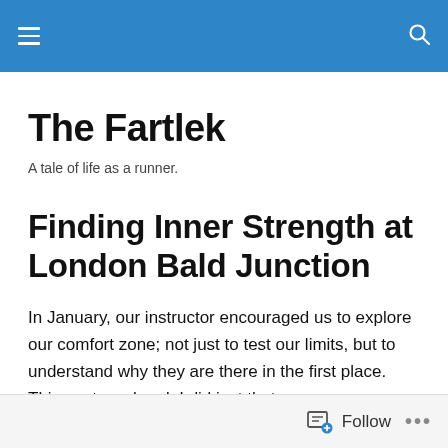The Fartlek — site header navigation bar
The Fartlek
A tale of life as a runner.
Finding Inner Strength at London Bald Junction
In January, our instructor encouraged us to explore our comfort zone; not just to test our limits, but to understand why they are there in the first place. This past weekend, I did just that.
Follow